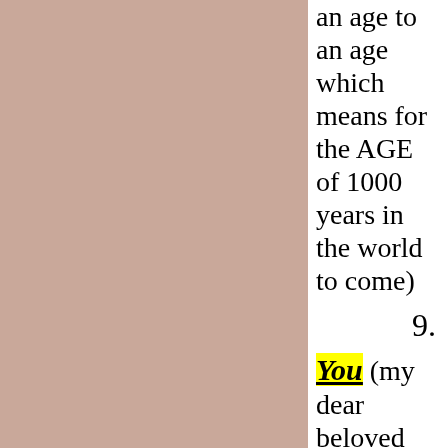an age to an age which means for the AGE of 1000 years in the world to come)
9.
You (my dear beloved Son in whom I am